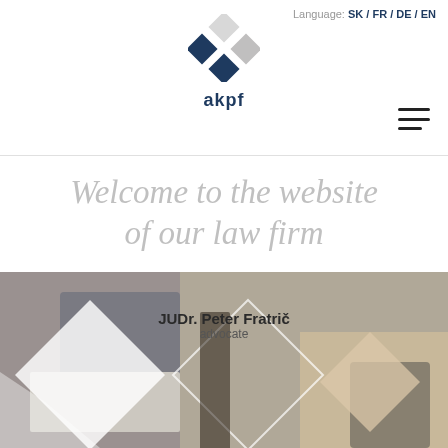Language: SK / FR / DE / EN
[Figure (logo): akpf law firm logo — four squares in dark blue and grey arranged in a diamond/checkerboard pattern, with 'akpf' text below]
Welcome to the website of our law firm
[Figure (photo): Photo collage with diamond/rhombus cutout shapes showing people working at a desk with documents and hands, overlaid with diamond geometric shapes in white and beige]
JUDr. Peter Fratrič
advocate